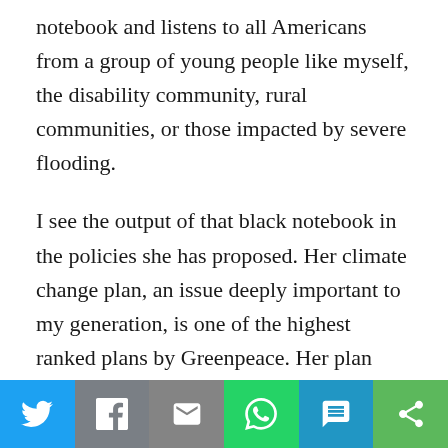notebook and listens to all Americans from a group of young people like myself, the disability community, rural communities, or those impacted by severe flooding.

I see the output of that black notebook in the policies she has proposed. Her climate change plan, an issue deeply important to my generation, is one of the highest ranked plans by Greenpeace. Her plan includes provisions that would give communities here in Iowa the resources to combat climate change, acknowledging the power and influence our rural communities have in addressing it. Kirsten has supported Medicare For All since many of us in Youth Polk County Democrats were in preschool —
[Figure (other): Social media share bar with icons for Twitter, Facebook, Email, WhatsApp, SMS, and More]